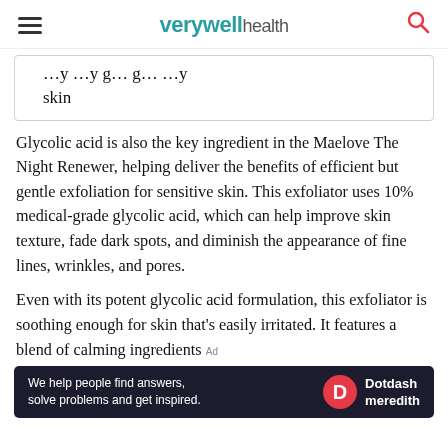verywell health
…y …y g… g… …y skin
Glycolic acid is also the key ingredient in the Maelove The Night Renewer, helping deliver the benefits of efficient but gentle exfoliation for sensitive skin. This exfoliator uses 10% medical-grade glycolic acid, which can help improve skin texture, fade dark spots, and diminish the appearance of fine lines, wrinkles, and pores.
Even with its potent glycolic acid formulation, this exfoliator is soothing enough for skin that's easily irritated. It features a blend of calming ingredients
[Figure (other): Dotdash Meredith advertisement banner: 'We help people find answers, solve problems and get inspired.' with Dotdash Meredith logo]